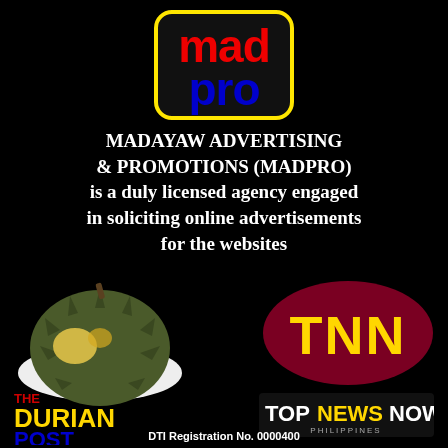[Figure (logo): madpro logo — black rounded rectangle with yellow border, red text 'mad' on top and blue text 'pro' on bottom]
MADAYAW ADVERTISING & PROMOTIONS (MADPRO) is a duly licensed agency engaged in soliciting online advertisements for the websites
[Figure (photo): Photo of a durian fruit on a white background]
[Figure (logo): TNN logo — dark red oval with yellow 'TNN' letters]
[Figure (logo): The Durian Post logo — red 'THE', yellow 'DURIAN', blue 'POST' text with durian image]
[Figure (logo): TopNewsNow Philippines logo — dark background with white 'TOP', yellow 'NEWS', white 'NOW' and 'PHILIPPINES' text]
DTI Registration No. 0000400